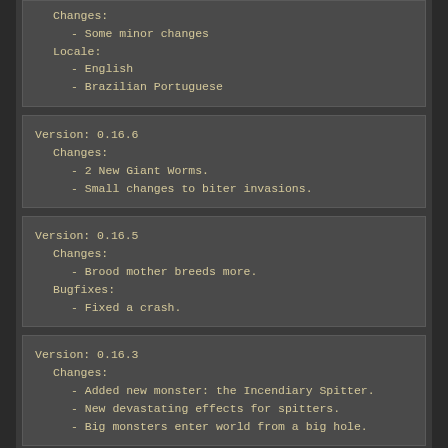Changes:
    - Some minor changes
Locale:
    - English
    - Brazilian Portuguese
Version: 0.16.6
  Changes:
      - 2 New Giant Worms.
      - Small changes to biter invasions.
Version: 0.16.5
  Changes:
      - Brood mother breeds more.
  Bugfixes:
      - Fixed a crash.
Version: 0.16.3
  Changes:
      - Added new monster: the Incendiary Spitter.
      - New devastating effects for spitters.
      - Big monsters enter world from a big hole.